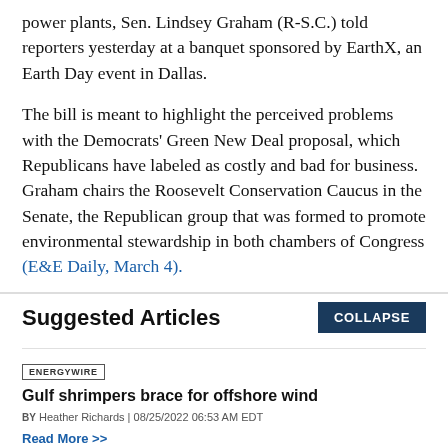power plants, Sen. Lindsey Graham (R-S.C.) told reporters yesterday at a banquet sponsored by EarthX, an Earth Day event in Dallas.
The bill is meant to highlight the perceived problems with the Democrats' Green New Deal proposal, which Republicans have labeled as costly and bad for business. Graham chairs the Roosevelt Conservation Caucus in the Senate, the Republican group that was formed to promote environmental stewardship in both chambers of Congress (E&E Daily, March 4).
Suggested Articles
ENERGYWIRE — Gulf shrimpers brace for offshore wind — BY Heather Richards | 08/25/2022 06:53 AM EDT — Read More >>
ENERGYWIRE — Is NEPA a winning strategy to fight oil and gas?